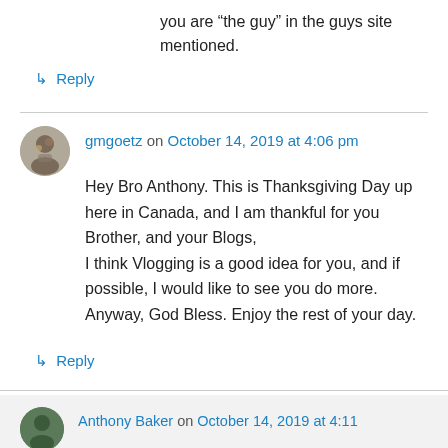you are “the guy” in the guys site mentioned.
↳ Reply
gmgoetz on October 14, 2019 at 4:06 pm
Hey Bro Anthony. This is Thanksgiving Day up here in Canada, and I am thankful for you Brother, and your Blogs,
I think Vlogging is a good idea for you, and if possible, I would like to see you do more.
Anyway, God Bless. Enjoy the rest of your day.
↳ Reply
Anthony Baker on October 14, 2019 at 4:11